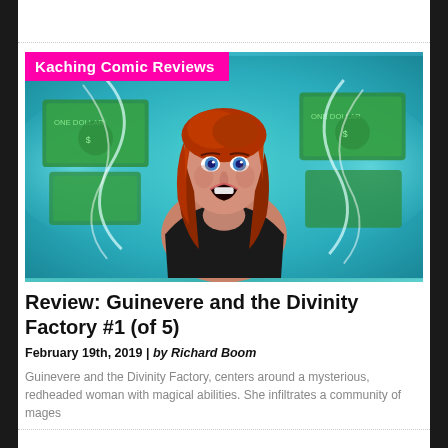[Figure (illustration): Comic book cover art showing a redheaded woman with blue eyes, mouth open, wearing a black outfit with a green gem necklace. Background features swirling teal/cyan energy and large green dollar bill imagery. Overlaid with a magenta banner reading 'Kaching Comic Reviews'.]
Review: Guinevere and the Divinity Factory #1 (of 5)
February 19th, 2019 | by Richard Boom
Guinevere and the Divinity Factory, centers around a mysterious, redheaded woman with magical abilities. She infiltrates a community of mages